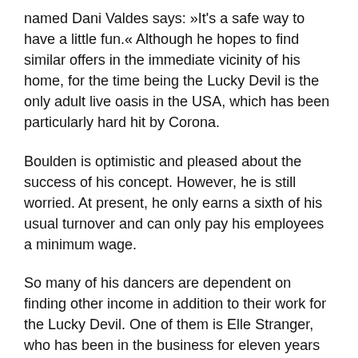named Dani Valdes says: »It's a safe way to have a little fun.« Although he hopes to find similar offers in the immediate vicinity of his home, for the time being the Lucky Devil is the only adult live oasis in the USA, which has been particularly hard hit by Corona.
Boulden is optimistic and pleased about the success of his concept. However, he is still worried. At present, he only earns a sixth of his usual turnover and can only pay his employees a minimum wage.
So many of his dancers are dependent on finding other income in addition to their work for the Lucky Devil. One of them is Elle Stranger, who has been in the business for eleven years and now has to earn additional income as a webcam girl.
She says: »I miss the athletic element and also the